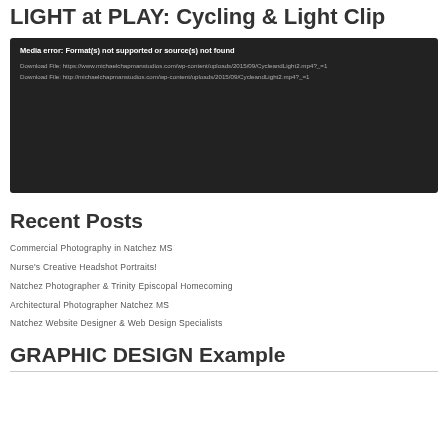LIGHT at PLAY: Cycling & Light Clip
[Figure (screenshot): Video player showing a media error: 'Media error: Format(s) not supported or source(s) not found' with two download file links displayed on a dark background.]
Recent Posts
Commercial Photography in Natchez MS
Nurse's Creative Headshot Portraits!
Natchez Photographer & Trinity Episcopal Homecoming
Architectural Photographer Natchez MS
Natchez Website Designer & Web Design Specialists
GRAPHIC DESIGN Example